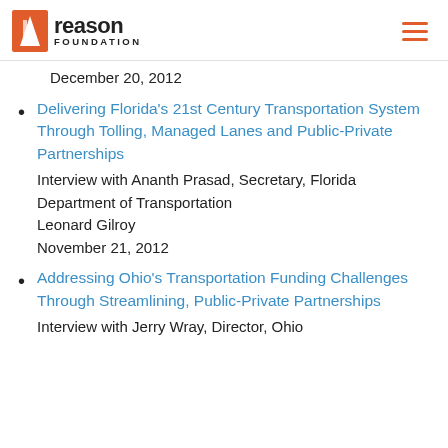Reason Foundation
December 20, 2012
Delivering Florida's 21st Century Transportation System Through Tolling, Managed Lanes and Public-Private Partnerships
Interview with Ananth Prasad, Secretary, Florida Department of Transportation
Leonard Gilroy
November 21, 2012
Addressing Ohio's Transportation Funding Challenges Through Streamlining, Public-Private Partnerships
Interview with Jerry Wray, Director, Ohio